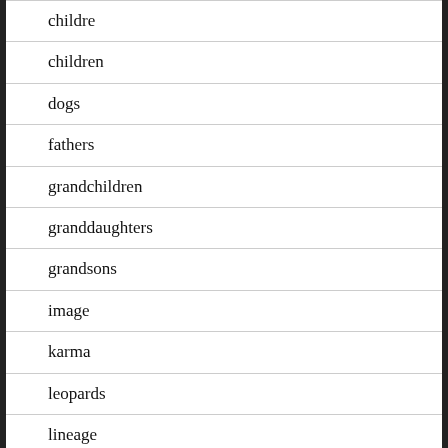childre
children
dogs
fathers
grandchildren
granddaughters
grandsons
image
karma
leopards
lineage
links